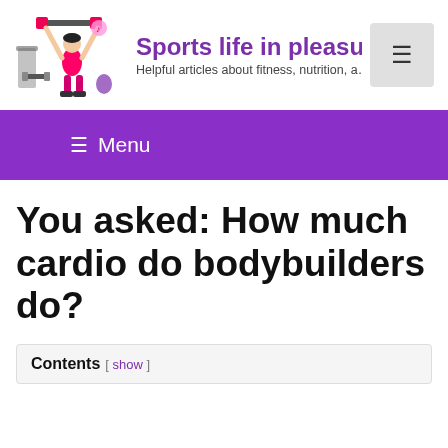[Figure (illustration): A cartoon illustration of a woman in pink workout clothes lifting weights, with gym equipment around her — logo image for 'Sports life in pleasure' website.]
Sports life in pleasure
Helpful articles about fitness, nutrition, a…
≡ Menu
You asked: How much cardio do bodybuilders do?
Contents [ show ]